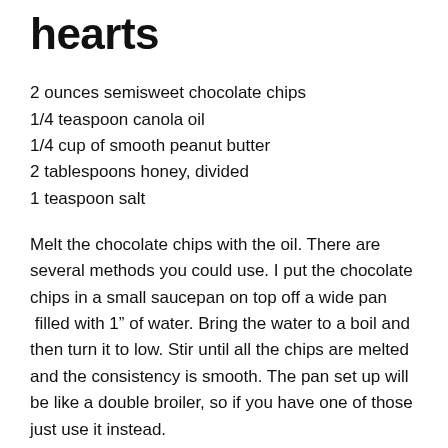hearts
2 ounces semisweet chocolate chips
1/4 teaspoon canola oil
1/4 cup of smooth peanut butter
2 tablespoons honey, divided
1 teaspoon salt
Melt the chocolate chips with the oil. There are several methods you could use. I put the chocolate chips in a small saucepan on top off a wide pan  filled with 1” of water. Bring the water to a boil and then turn it to low. Stir until all the chips are melted and the consistency is smooth. The pan set up will be like a double broiler, so if you have one of those just use it instead.
Once the chips are melted, spread a thin layer of chocolate into each of the mold cavities. You can use a